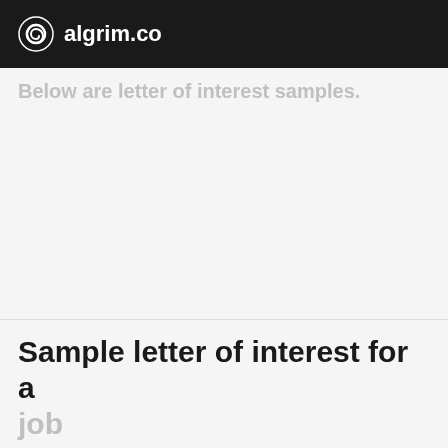algrim.co
Below are letter of interest samples.
Sample letter of interest for a job